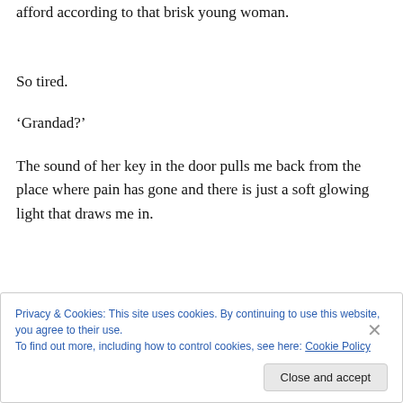afford according to that brisk young woman.
So tired.
‘Grandad?’
The sound of her key in the door pulls me back from the place where pain has gone and there is just a soft glowing light that draws me in.
Privacy & Cookies: This site uses cookies. By continuing to use this website, you agree to their use.
To find out more, including how to control cookies, see here: Cookie Policy